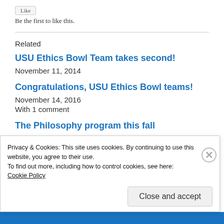Be the first to like this.
Related
USU Ethics Bowl Team takes second!
November 11, 2014
Congratulations, USU Ethics Bowl teams!
November 14, 2016
With 1 comment
The Philosophy program this fall
Privacy & Cookies: This site uses cookies. By continuing to use this website, you agree to their use.
To find out more, including how to control cookies, see here:
Cookie Policy
Close and accept